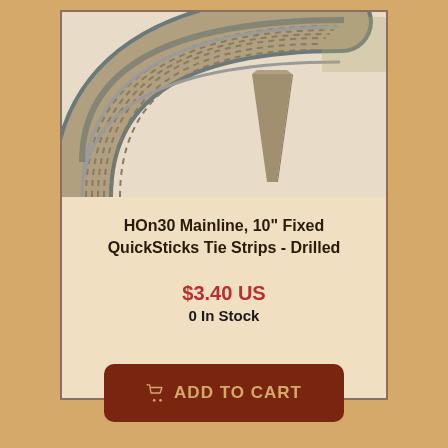[Figure (photo): Model railroad curved track section (HON30 Mainline) with tie strips, shown curving from top-left to top-right with a bridge support pier visible underneath.]
HOn30 Mainline, 10" Fixed QuickSticks Tie Strips - Drilled
$3.40 US
0 In Stock
ADD TO CART